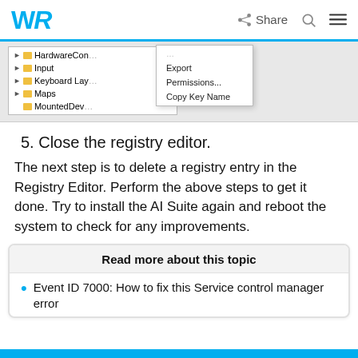WR | Share [search] [menu]
[Figure (screenshot): Windows Registry Editor context menu showing HardwareCon, Input, Keyboard Lay, Maps, MountedDevices folders with a right-click context menu showing options: (top item), Export, Permissions..., Copy Key Name]
5. Close the registry editor.
The next step is to delete a registry entry in the Registry Editor. Perform the above steps to get it done. Try to install the AI Suite again and reboot the system to check for any improvements.
Read more about this topic
Event ID 7000: How to fix this Service control manager error